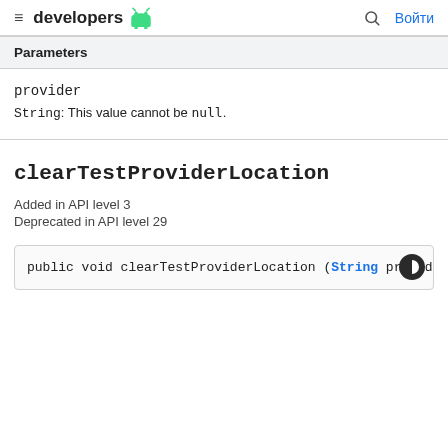developers
| Parameters |
| --- |
| provider | String: This value cannot be null. |
clearTestProviderLocation
Added in API level 3
Deprecated in API level 29
public void clearTestProviderLocation (String provid